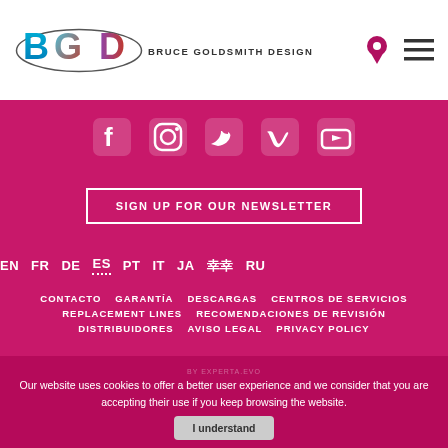Bruce Goldsmith Design
[Figure (infographic): Social media icons row: Facebook, Instagram, Twitter, Vimeo, YouTube — white icons on dark pink background]
SIGN UP FOR OUR NEWSLETTER
EN  FR  DE  ES  PT  IT  JA  KO  RU
CONTACTO
GARANTÍA
DESCARGAS
CENTROS DE SERVICIOS
REPLACEMENT LINES
RECOMENDACIONES DE REVISIÓN
DISTRIBUIDORES
AVISO LEGAL
PRIVACY POLICY
Our website uses cookies to offer a better user experience and we consider that you are accepting their use if you keep browsing the website.
I understand